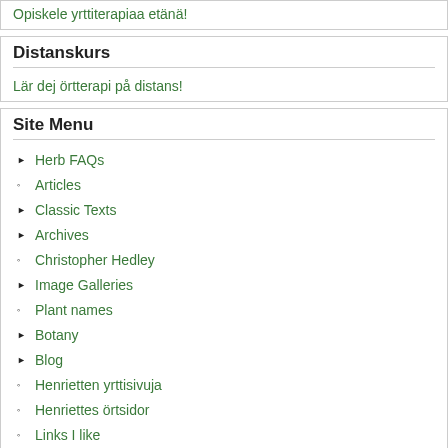Opiskele yrttiterapiaa etänä!
Distanskurs
Lär dej örtterapi på distans!
Site Menu
Herb FAQs
Articles
Classic Texts
Archives
Christopher Hedley
Image Galleries
Plant names
Botany
Blog
Henrietten yrttisivuja
Henriettes örtsidor
Links I like
Buy things